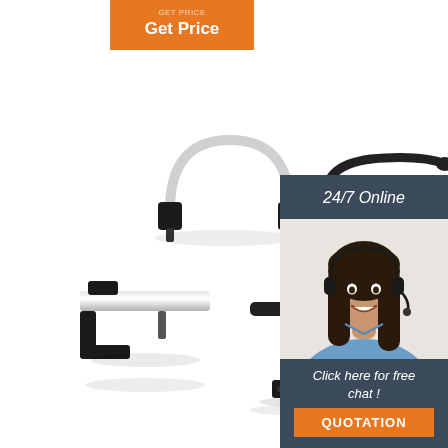[Figure (other): Orange 'Get Price' button with small text above]
[Figure (photo): Collection of window/door hardware handles in black and silver/white, shown on white background. Four handles of different shapes and styles are arranged diagonally.]
[Figure (photo): Customer service agent: smiling woman with headset, dark hair, blue shirt, on right side panel]
24/7 Online
Click here for free chat !
QUOTATION